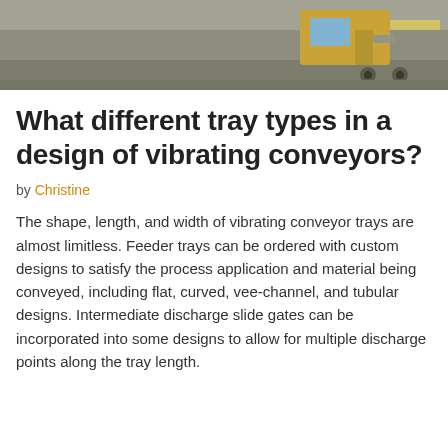[Figure (photo): Top portion of a photo showing industrial equipment (vibrating conveyor) in a warehouse or industrial facility, with concrete floor and yellow/orange machinery visible.]
What different tray types in a design of vibrating conveyors?
by Christine
The shape, length, and width of vibrating conveyor trays are almost limitless. Feeder trays can be ordered with custom designs to satisfy the process application and material being conveyed, including flat, curved, vee-channel, and tubular designs. Intermediate discharge slide gates can be incorporated into some designs to allow for multiple discharge points along the tray length.